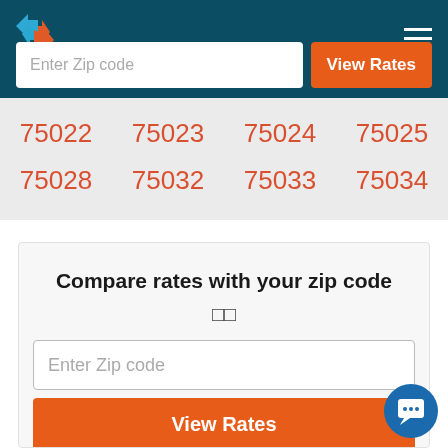Header navigation bar with logo and hamburger menu
Enter Zip code
View Rates
75022  75023  75024  75025
75028  75032  75033  75034
Compare rates with your zip code
🏳🏳
Enter Zip code
View Rates